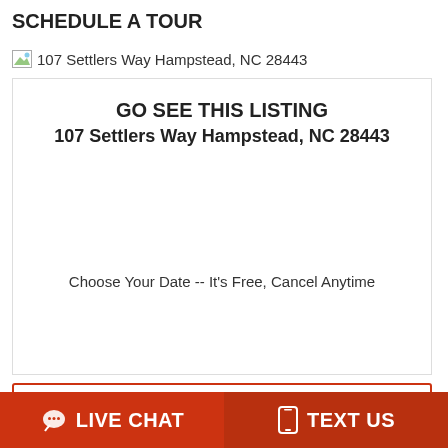SCHEDULE A TOUR
[Figure (photo): Broken image placeholder for 107 Settlers Way Hampstead, NC 28443]
GO SEE THIS LISTING
107 Settlers Way Hampstead, NC 28443
Choose Your Date -- It's Free, Cancel Anytime
Printable Flyer
Get Directions
LIVE CHAT
TEXT US